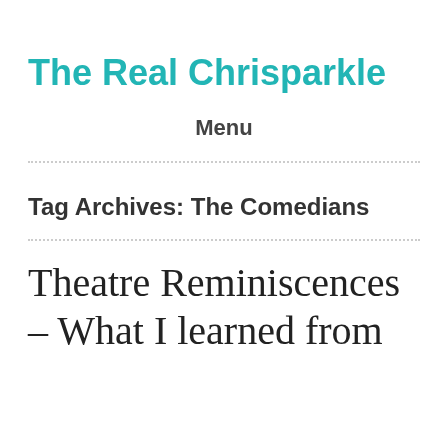The Real Chrisparkle
Menu
Tag Archives: The Comedians
Theatre Reminiscences – What I learned from